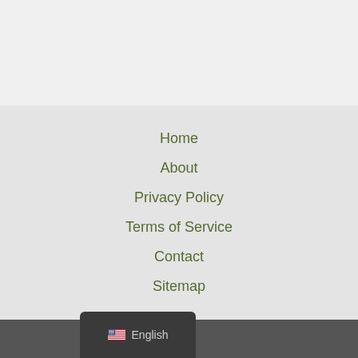Home
About
Privacy Policy
Terms of Service
Contact
Sitemap
Copyright © 2022 Bear Grylls Gear
English